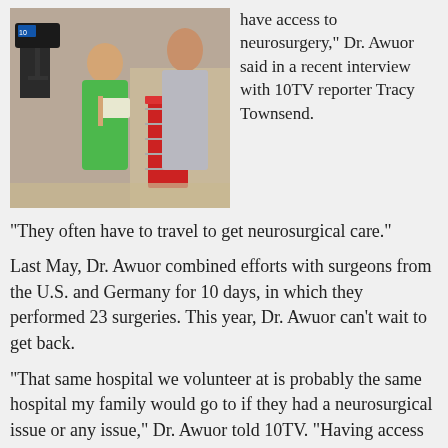[Figure (photo): A woman in a green jacket holds papers and reviews them with a man in a grey suit inside a medical facility. A camera operator films them in the background.]
have access to neurosurgery," Dr. Awuor said in a recent interview with 10TV reporter Tracy Townsend. "They often have to travel to get neurosurgical care."
Last May, Dr. Awuor combined efforts with surgeons from the U.S. and Germany for 10 days, in which they performed 23 surgeries. This year, Dr. Awuor can't wait to get back.
"That same hospital we volunteer at is probably the same hospital my family would go to if they had a neurosurgical issue or any issue," Dr. Awuor told 10TV. "Having access in that area is very important."
Grant Medical Center is proud to help donate the medical